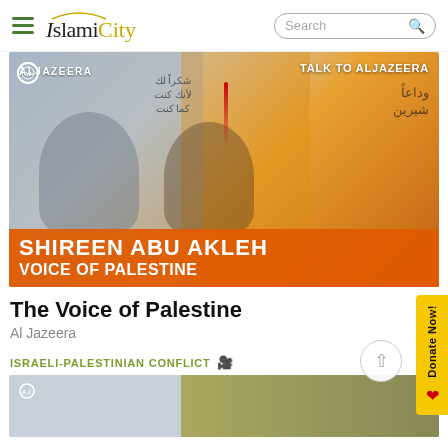IslamiCity
[Figure (screenshot): Al Jazeera thumbnail showing Shireen Abu Akleh mural/poster images with text 'TALK TO ALJAZEERA', 'ALJAZEERA', 'SHIREEN ABU AKLEH', 'VOICE OF PALESTINE' on orange banner]
The Voice of Palestine
Al Jazeera
ISRAELI-PALESTINIAN CONFLICT
[Figure (photo): Partial view of a second Al Jazeera news article image showing a person and landscape]